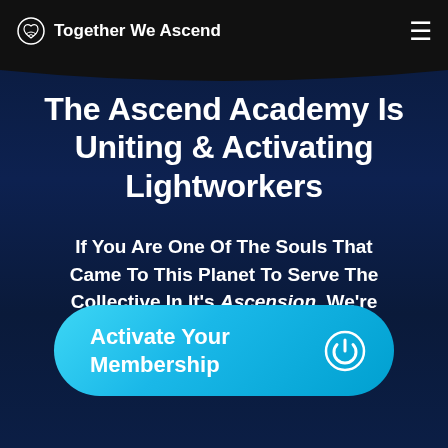Together We Ascend
The Ascend Academy Is Uniting & Activating Lightworkers
If You Are One Of The Souls That Came To This Planet To Serve The Collective In It's Ascension, We're Looking For You...
Activate Your Membership